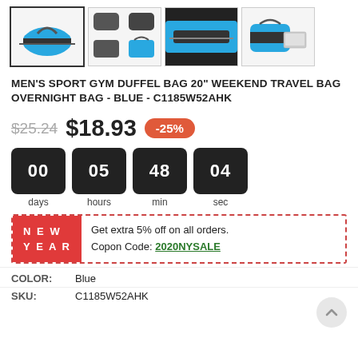[Figure (photo): Four product thumbnail images of a blue duffel bag from different angles and views.]
MEN'S SPORT GYM DUFFEL BAG 20" WEEKEND TRAVEL BAG OVERNIGHT BAG - BLUE - C1185W52AHK
$25.24  $18.93  -25%
[Figure (infographic): Countdown timer showing 00 days, 05 hours, 48 min, 04 sec in dark tiles.]
NEW YEAR  Get extra 5% off on all orders.
Copon Code: 2020NYSALE
COLOR:  Blue
SKU:  C1185W52AHK